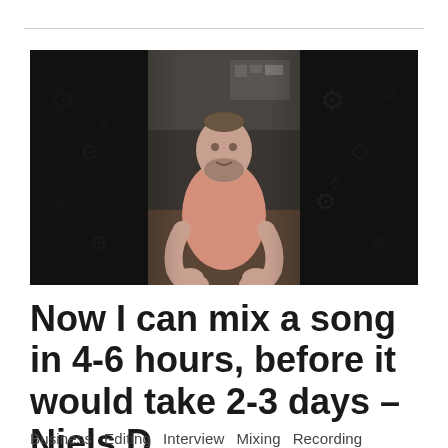[Figure (photo): A man with a beard wearing a pink shirt, gesturing with his hands, sitting in a room. The image has dark blurred/vignette edges on left and right sides.]
Now I can mix a song in 4-6 hours, before it would take 2-3 days – Niels D.
Business   Editing   Interview   Mixing   Recording